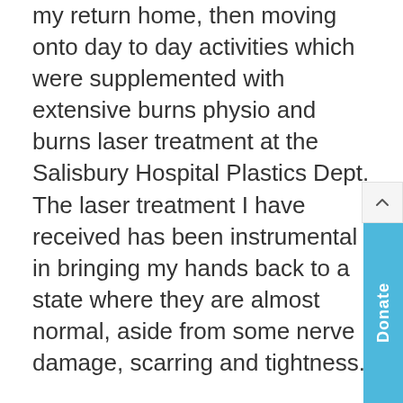my return home, then moving onto day to day activities which were supplemented with extensive burns physio and burns laser treatment at the Salisbury Hospital Plastics Dept. The laser treatment I have received has been instrumental in bringing my hands back to a state where they are almost normal, aside from some nerve damage, scarring and tightness.
Alongside my physical injuries, I also experienced Post Traumatic Stress. Since my return home I have seen the burns Clinical Psychologist, who has been crucial to my mental recovery from the effects of the explosion. I have undergone Cognitive